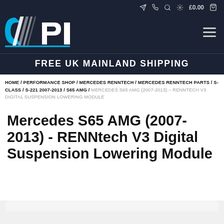[Figure (logo): CPI logo with blue and white diagonal stripes on dark navy background]
FREE UK MAINLAND SHIPPING
HOME / PERFORMANCE SHOP / MERCEDES RENNTECH / MERCEDES RENNTECH PARTS / S-CLASS / S-221 2007-2013 / S65 AMG / MERCEDES S65 AMG (2007-2013) – RENNTECH V3 DIGITAL SUSPENSION LOWERING MODULE
Mercedes S65 AMG (2007-2013) - RENNtech V3 Digital Suspension Lowering Module